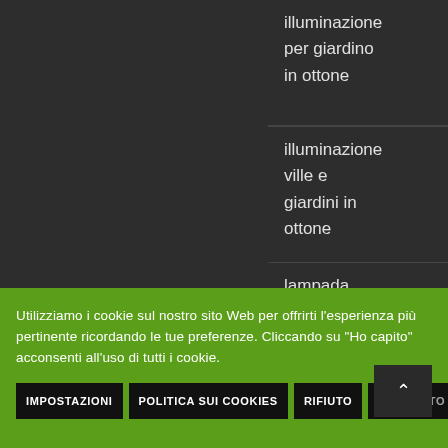illuminazione per giardino in ottone
illuminazione ville e giardini in ottone
lampada
Utilizziamo i cookie sul nostro sito Web per offrirti l'esperienza più pertinente ricordando le tue preferenze. Cliccando su "Ho capito" acconsenti all'uso di tutti i cookie.
IMPOSTAZIONI POLITICA SUI COOKIES RIFIUTO HO CAPITO